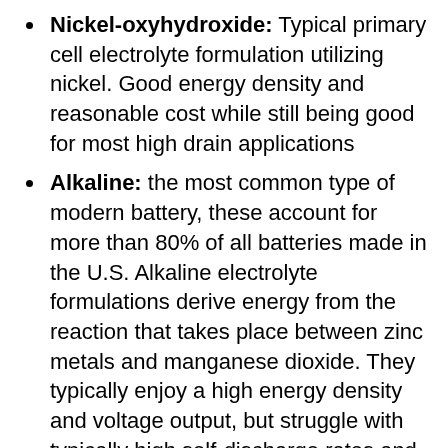Nickel-oxyhydroxide: Typical primary cell electrolyte formulation utilizing nickel. Good energy density and reasonable cost while still being good for most high drain applications
Alkaline: the most common type of modern battery, these account for more than 80% of all batteries made in the U.S. Alkaline electrolyte formulations derive energy from the reaction that takes place between zinc metals and manganese dioxide. They typically enjoy a high energy density and voltage output, but struggle with typically high self-discharge rates and low shelf life compared to lithium formulations.
Zinc-manganese dioxide: Common type of alkaline primary cell. Average